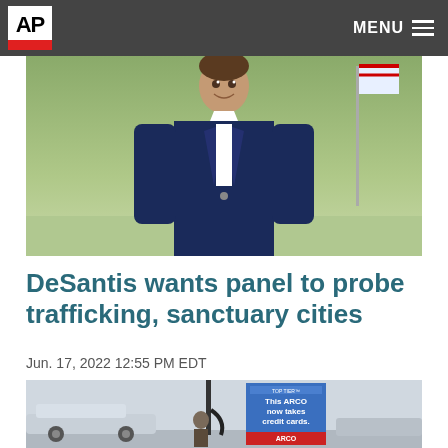AP  MENU
[Figure (photo): Man in navy blue blazer and white shirt standing outdoors with flags visible in the background, smiling]
DeSantis wants panel to probe trafficking, sanctuary cities
Jun. 17, 2022 12:55 PM EDT
[Figure (photo): Bottom portion of a photo showing cars at an ARCO gas station with a sign reading 'This ARCO now takes credit cards.']